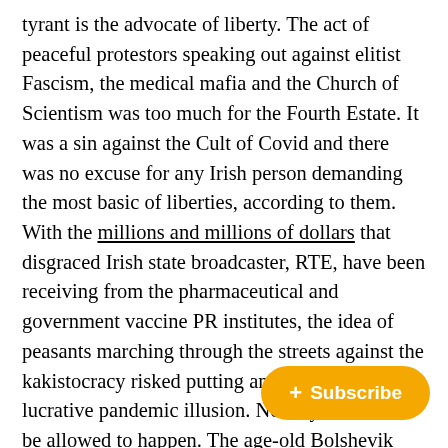tyrant is the advocate of liberty. The act of peaceful protestors speaking out against elitist Fascism, the medical mafia and the Church of Scientism was too much for the Fourth Estate. It was a sin against the Cult of Covid and there was no excuse for any Irish person demanding the most basic of liberties, according to them. With the millions and millions of dollars that disgraced Irish state broadcaster, RTE, have been receiving from the pharmaceutical and government vaccine PR institutes, the idea of peasants marching through the streets against the kakistocracy risked putting an end to the lucrative pandemic illusion. No way could that be allowed to happen. The age-old Bolshevik tactic of using psychiatry to stifle resistance had to be rolled out. So it was imper... protestors were viewed as being an u... minority of the Irish population. Former Taoiseach, Leo
[Figure (other): Yellow subscribe button with plus icon and text '+ Subscribe']